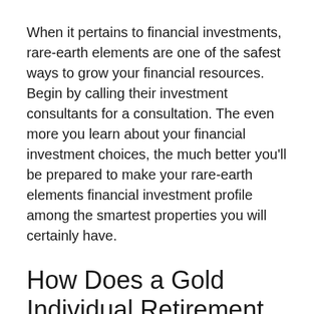When it pertains to financial investments, rare-earth elements are one of the safest ways to grow your financial resources. Begin by calling their investment consultants for a consultation. The even more you learn about your financial investment choices, the much better you'll be prepared to make your rare-earth elements financial investment profile among the smartest properties you will certainly have.
How Does a Gold Individual Retirement Account Work?
A Gold individual retirement account works specifically like any retirement account with the addition of a certain difference...